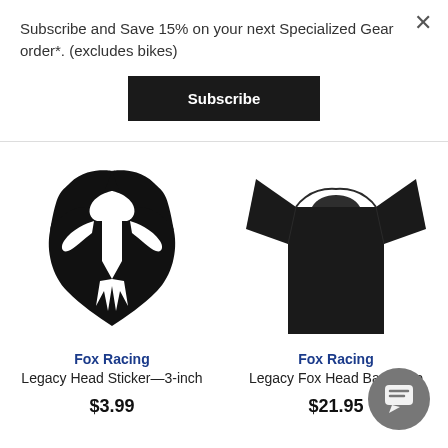Subscribe and Save 15% on your next Specialized Gear order*. (excludes bikes)
Subscribe
[Figure (logo): Fox Racing fox head logo sticker — black shield/wing shape on white background]
[Figure (photo): Fox Racing black t-shirt showing neckline and shoulders]
Fox Racing
Legacy Head Sticker—3-inch
$3.99
Fox Racing
Legacy Fox Head Basic Tee
$21.95